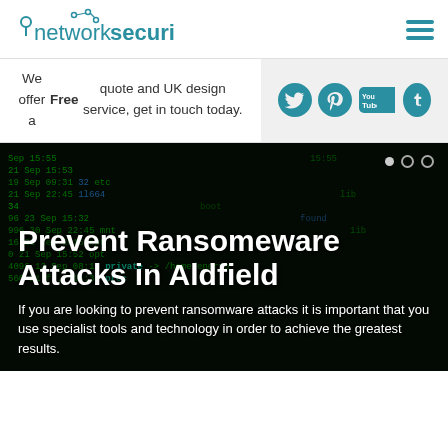[Figure (logo): Network Security logo with teal text and network/location pin icon]
We offer a Free quote and UK design service, get in touch today.
[Figure (infographic): Social media icons: Twitter, Pinterest, YouTube, Tumblr on grey background]
[Figure (screenshot): Hero banner with terminal/code background image showing green text on dark background with ransomware article text]
Prevent Ransomeware Attacks in Aldfield
If you are looking to prevent ransomware attacks it is important that you use specialist tools and technology in order to achieve the greatest results.